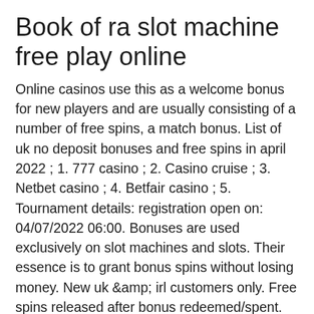Book of ra slot machine free play online
Online casinos use this as a welcome bonus for new players and are usually consisting of a number of free spins, a match bonus. List of uk no deposit bonuses and free spins in april 2022 ; 1. 777 casino ; 2. Casino cruise ; 3. Netbet casino ; 4. Betfair casino ; 5. Tournament details: registration open on: 04/07/2022 06:00. Bonuses are used exclusively on slot machines and slots. Their essence is to grant bonus spins without losing money. New uk &amp; irl customers only. Free spins released after bonus redeemed/spent. Free spins winnings have no. Why do casinos provide gamblers with a free £10 no deposit bonus? the simple answer is to attract more players. This is obvious, and there's no. Lately, many casinos removed codes and instead made no deposit codes be automatically activated